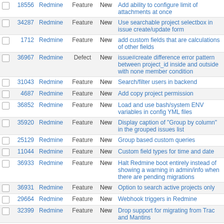|  | # | Project | Tracker | Status | Subject |
| --- | --- | --- | --- | --- | --- |
|  | 18556 | Redmine | Feature | New | Add ability to configure limit of attachments at once |
|  | 34287 | Redmine | Feature | New | Use searchable project selectbox in issue create/update form |
|  | 1712 | Redmine | Feature | New | add custom fields that are calculations of other fields |
|  | 36967 | Redmine | Defect | New | issue#create difference error pattern between project_id inside and outside with none member condition |
|  | 31043 | Redmine | Feature | New | Search/filter users in backend |
|  | 4687 | Redmine | Feature | New | Add copy project permission |
|  | 36852 | Redmine | Feature | New | Load and use bash/system ENV variables in config YML files |
|  | 35920 | Redmine | Feature | New | Display caption of "Group by column" in the grouped issues list |
|  | 25129 | Redmine | Feature | New | Group based custom queries |
|  | 11044 | Redmine | Feature | New | Custom field types for time and date |
|  | 36933 | Redmine | Feature | New | Halt Redmine boot entirely instead of showing a warning in admin/info when there are pending migrations |
|  | 36931 | Redmine | Feature | New | Option to search active projects only |
|  | 29664 | Redmine | Feature | New | Webhook triggers in Redmine |
|  | 32399 | Redmine | Feature | New | Drop support for migrating from Trac and Mantins |
|  | 29853 | Redmine | Defect | New | Default plugin value is not |
|  | 7610 | Redmine | Patch | New | Patch providing issue journal rollback |
|  | 36875 | Redmine | Feature | New | Run garbage collection by clicking on admin site |
|  | 36864 | Redmine | Defect | New | Email can't be dragged into Redmine 4.2.3 |